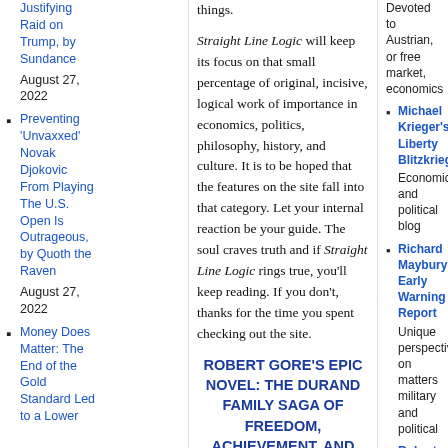Justifying Raid on Trump, by Sundance August 27, 2022
Preventing 'Unvaxxed' Novak Djokovic From Playing The U.S. Open Is Outrageous, by Quoth the Raven August 27, 2022
Money Does Matter: The End of the Gold Standard Led to a Lower
things.

Straight Line Logic will keep its focus on that small percentage of original, incisive, logical work of importance in economics, politics, philosophy, history, and culture. It is to be hoped that the features on the site fall into that category. Let your internal reaction be your guide. The soul craves truth and if Straight Line Logic rings true, you'll keep reading. If you don't, thanks for the time you spent checking out the site.
ROBERT GORE'S EPIC NOVEL: THE DURAND FAMILY SAGA OF FREEDOM, ACHIEVEMENT, AND THE
Devoted to Austrian, or free market, economics
Michael Krieger's Liberty Blitzkrieg Economic and political blog
Richard Maybury's Early Warning Report Unique perspective on matters military and political
Robert Prechter's Elliott Wave